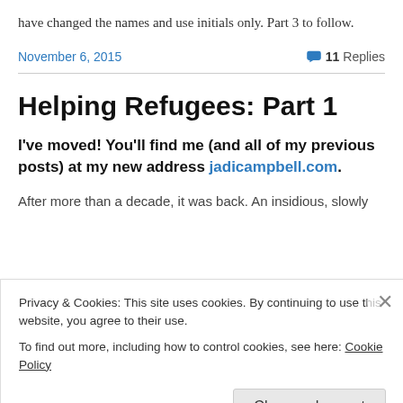have changed the names and use initials only. Part 3 to follow.
November 6, 2015    💬 11 Replies
Helping Refugees: Part 1
I've moved! You'll find me (and all of my previous posts) at my new address jadicampbell.com.
After more than a decade, it was back. An insidious, slowly
Privacy & Cookies: This site uses cookies. By continuing to use this website, you agree to their use.
To find out more, including how to control cookies, see here: Cookie Policy
Close and accept